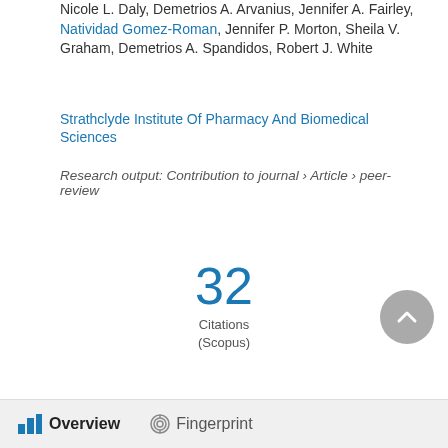Nicole L. Daly, Demetrios A. Arvanius, Jennifer A. Fairley, Natividad Gomez-Roman, Jennifer P. Morton, Sheila V. Graham, Demetrios A. Spandidos, Robert J. White
Strathclyde Institute Of Pharmacy And Biomedical Sciences
Research output: Contribution to journal › Article › peer-review
32 Citations (Scopus)
Overview   Fingerprint